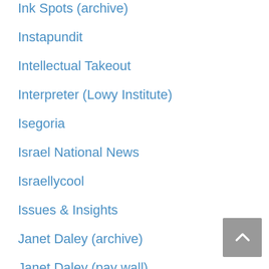Ink Spots (archive)
Instapundit
Intellectual Takeout
Interpreter (Lowy Institute)
Isegoria
Israel National News
Israellycool
Issues & Insights
Janet Daley (archive)
Janet Daley (pay wall)
Jerry Pournelle (archive)
Jewish World Review
Jihad Watch
jihadica